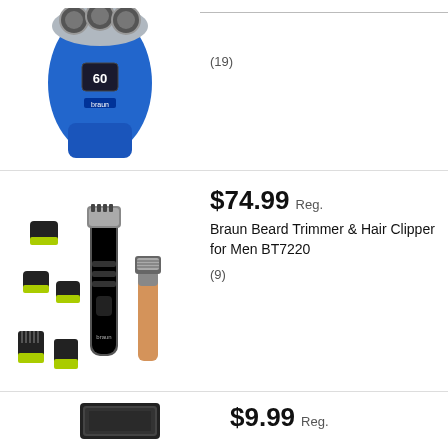[Figure (photo): Blue electric shaver/razor product photo, top portion visible]
(19)
[Figure (photo): Braun Beard Trimmer & Hair Clipper for Men BT7220 product set with accessories and razor]
$74.99 Reg.
Braun Beard Trimmer & Hair Clipper for Men BT7220
(9)
[Figure (photo): Small product image, partially visible at bottom]
$9.99 Reg.